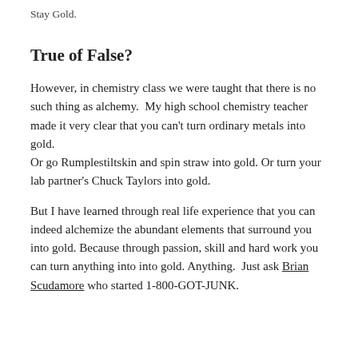Stay Gold.
True of False?
However, in chemistry class we were taught that there is no such thing as alchemy.  My high school chemistry teacher made it very clear that you can't turn ordinary metals into gold.
Or go Rumplestiltskin and spin straw into gold. Or turn your lab partner's Chuck Taylors into gold.
But I have learned through real life experience that you can indeed alchemize the abundant elements that surround you into gold. Because through passion, skill and hard work you can turn anything into into gold. Anything.  Just ask Brian Scudamore who started 1-800-GOT-JUNK.